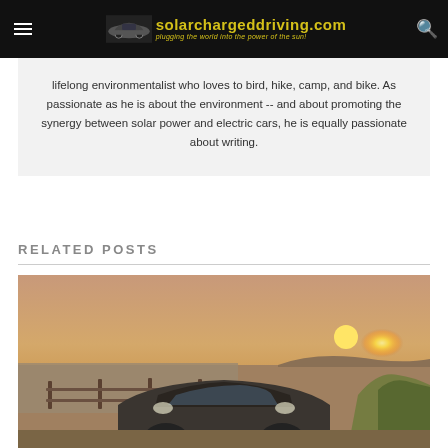solarchargeddriving.com — plugging the world into the power of the sun!
lifelong environmentalist who loves to bird, hike, camp, and bike. As passionate as he is about the environment -- and about promoting the synergy between solar power and electric cars, he is equally passionate about writing.
RELATED POSTS
[Figure (photo): A car photographed from the front at sunset near a waterfront, with a wooden fence in the background and the sun low on the horizon over water.]